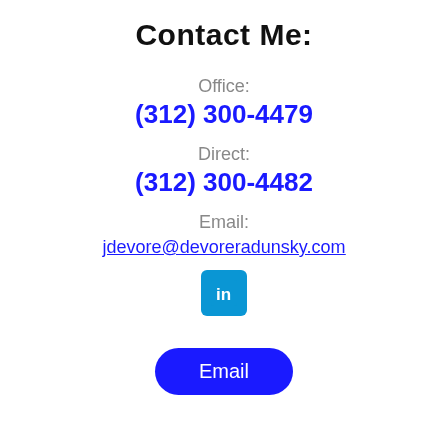Contact Me:
Office:
(312) 300-4479
Direct:
(312) 300-4482
Email:
jdevore@devoreradunsky.com
[Figure (logo): LinkedIn logo icon — white 'in' on teal/blue rounded square background]
Email